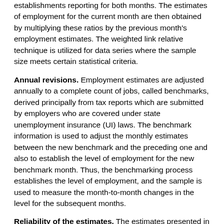establishments reporting for both months. The estimates of employment for the current month are then obtained by multiplying these ratios by the previous month's employment estimates. The weighted link relative technique is utilized for data series where the sample size meets certain statistical criteria.
Annual revisions. Employment estimates are adjusted annually to a complete count of jobs, called benchmarks, derived principally from tax reports which are submitted by employers who are covered under state unemployment insurance (UI) laws. The benchmark information is used to adjust the monthly estimates between the new benchmark and the preceding one and also to establish the level of employment for the new benchmark month. Thus, the benchmarking process establishes the level of employment, and the sample is used to measure the month-to-month changes in the level for the subsequent months.
Reliability of the estimates. The estimates presented in this release are based on sample survey and administrative data and thus are subject to sampling and other types of errors. Sampling error is a measure of sampling variability—that is, variation that occurs by chance because a sample rather than the entire population is surveyed. Survey data are also subject to nonsampling errors, such as those which can be introduced into the data collection and processing operations. Estimates not directly derived from sample surveys are subject to additional errors